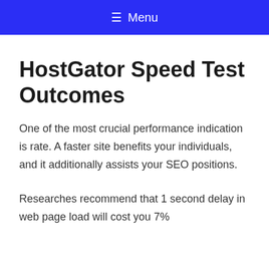☰ Menu
HostGator Speed Test Outcomes
One of the most crucial performance indication is rate. A faster site benefits your individuals, and it additionally assists your SEO positions.
Researches recommend that 1 second delay in web page load will cost you 7%